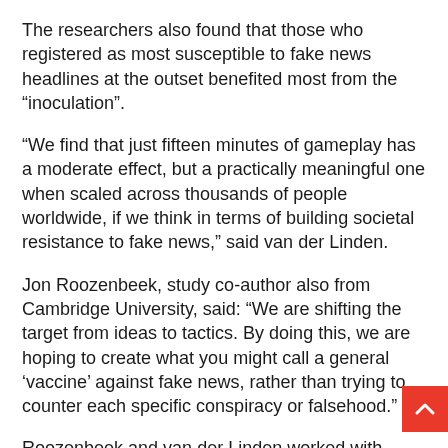The researchers also found that those who registered as most susceptible to fake news headlines at the outset benefited most from the “inoculation”.
“We find that just fifteen minutes of gameplay has a moderate effect, but a practically meaningful one when scaled across thousands of people worldwide, if we think in terms of building societal resistance to fake news,” said van der Linden.
Jon Roozenbeek, study co-author also from Cambridge University, said: “We are shifting the target from ideas to tactics. By doing this, we are hoping to create what you might call a general ‘vaccine’ against fake news, rather than trying to counter each specific conspiracy or falsehood.”
Roozenbeek and van der Linden worked with Dutch media collective DROG and design agency Gusmanson to develop Bad News, and the idea of a game to inoculate against fake news has attracted much attention.